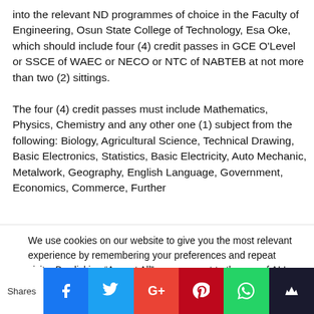into the relevant ND programmes of choice in the Faculty of Engineering, Osun State College of Technology, Esa Oke, which should include four (4) credit passes in GCE O'Level or SSCE of WAEC or NECO or NTC of NABTEB at not more than two (2) sittings.
The four (4) credit passes must include Mathematics, Physics, Chemistry and any other one (1) subject from the following: Biology, Agricultural Science, Technical Drawing, Basic Electronics, Statistics, Basic Electricity, Auto Mechanic, Metalwork, Geography, English Language, Government, Economics, Commerce, Further
We use cookies on our website to give you the most relevant experience by remembering your preferences and repeat visits. By clicking "Accept All", you consent to the use of ALL the cookies. However, you may visit "Cookie Settings" to provide a controlled consent.